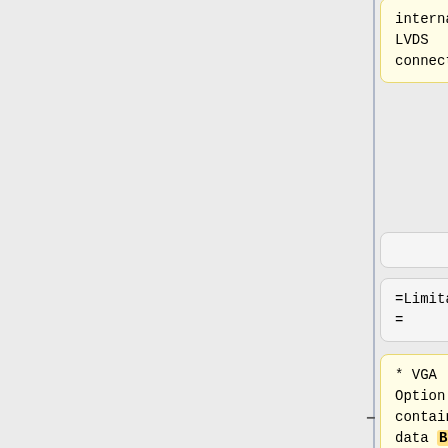internal LVDS connector.
the internal LVDS''' connector.
=Limitations =
=Limitations =
* VGA Option ROMs contain data BLOBs, that are not available if native graphics initialization is used. OS that
* VGA Option ROMs contain configuration data, that are not available if native graphics initialization is used.